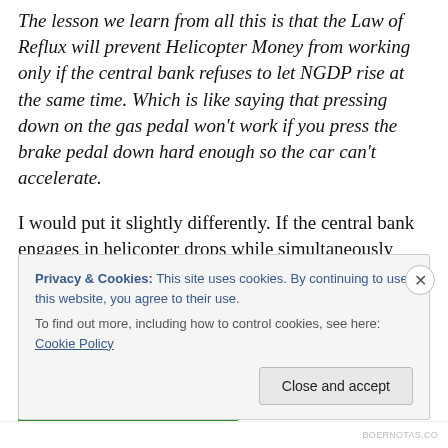The lesson we learn from all this is that the Law of Reflux will prevent Helicopter Money from working only if the central bank refuses to let NGDP rise at the same time. Which is like saying that pressing down on the gas pedal won't work if you press the brake pedal down hard enough so the car can't accelerate.
I would put it slightly differently. If the central bank engages in helicopter drops while simultaneously proclaiming that its inflation target is below the rate of inflation consistent with its helicopter drops, reflux may prevent helicopter drops from having any effect.
Privacy & Cookies: This site uses cookies. By continuing to use this website, you agree to their use. To find out more, including how to control cookies, see here: Cookie Policy